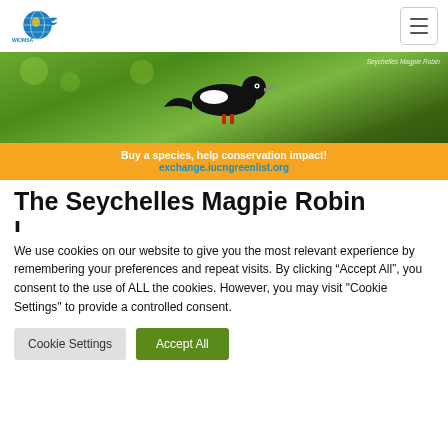WIOMSA logo and navigation hamburger menu
[Figure (photo): Banner image showing a Seychelles Magpie Robin (black bird) on a green bokeh background, with an orange strip at the bottom reading 'Buy a species, help conservation impact!' and 'exchange.iucngreenlist.org']
The Seychelles Magpie Robin
We use cookies on our website to give you the most relevant experience by remembering your preferences and repeat visits. By clicking “Accept All”, you consent to the use of ALL the cookies. However, you may visit "Cookie Settings" to provide a controlled consent.
Cookie Settings | Accept All